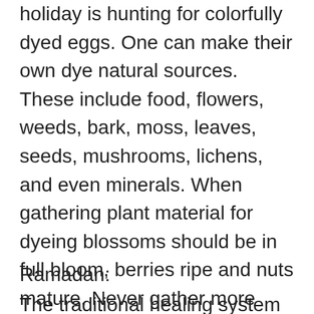holiday is hunting for colorfully dyed eggs. One can make their own dye natural sources. These include food, flowers, weeds, bark, moss, leaves, seeds, mushrooms, lichens, and even minerals. When gathering plant material for dyeing blossoms should be in full bloom, berries ripe and nuts mature. Never gather more than 2/3 of a stand of anything in the wild when gathering plant stuff for dyeing. (See recipes)
Ramadan:
The traditional healing system of the